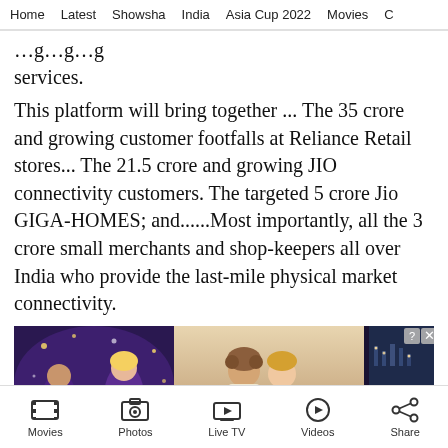Home   Latest   Showsha   India   Asia Cup 2022   Movies   C
…g…g…g services.
This platform will bring together ... The 35 crore and growing customer footfalls at Reliance Retail stores... The 21.5 crore and growing JIO connectivity customers. The targeted 5 crore Jio GIGA-HOMES; and......Most importantly, all the 3 crore small merchants and shop-keepers all over India who provide the last-mile physical market connectivity.
[Figure (photo): Advertisement banner for 'Whispers' mobile game showing romantic illustrated characters]
Movies   Photos   Live TV   Videos   Share